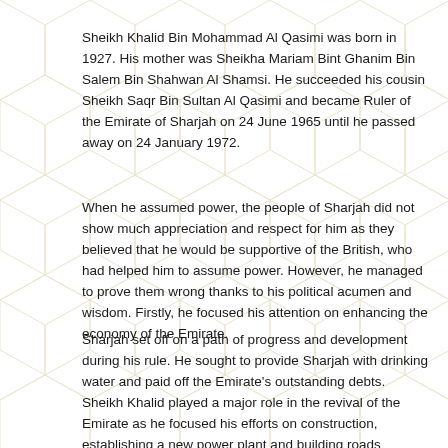Sheikh Khalid Bin Mohammad Al Qasimi was born in 1927.  His mother was Sheikha Mariam Bint Ghanim Bin Salem Bin Shahwan Al Shamsi.  He succeeded his cousin Sheikh Saqr Bin Sultan Al Qasimi and became Ruler of the Emirate of Sharjah on 24 June 1965 until he passed away on 24 January 1972.
When he assumed power, the people of Sharjah did not show much appreciation and respect for him as they believed that he would be supportive of the British, who had helped him to assume power.  However, he managed to prove them wrong thanks to his political acumen and wisdom.  Firstly, he focused his attention on enhancing the economy of the Emirate.
Sharjah set off on a path of progress and development during his rule.  He sought to provide Sharjah with drinking water and paid off the Emirate's outstanding debts.  Sheikh Khalid played a major role in the revival of the Emirate as he focused his efforts on construction, establishing a new power plant and building roads throughout the Emirate that connected Sharjah with other cities and Emirates.
For the first time, high-rise buildings were seen in Sharjah and he gave orders to build a huge port in Sharjah that was named Port